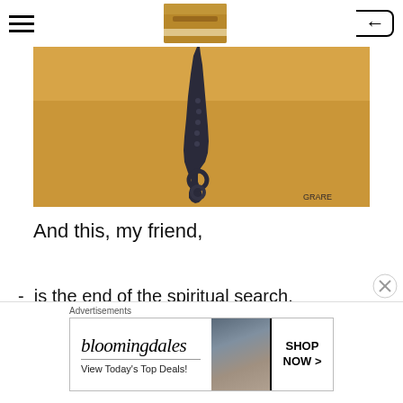Navigation header with hamburger menu, logo image, and back button
[Figure (illustration): Painting of a dark pendulum or hook-like object hanging down against a warm golden/tan background, with artist signature 'Grane' in lower right]
And this, my friend,
- is the end of the spiritual search.
- It's the end of the exhausting seeking
[Figure (screenshot): Bloomingdale's advertisement: 'View Today's Top Deals!' with SHOP NOW > button and model wearing wide-brim hat]